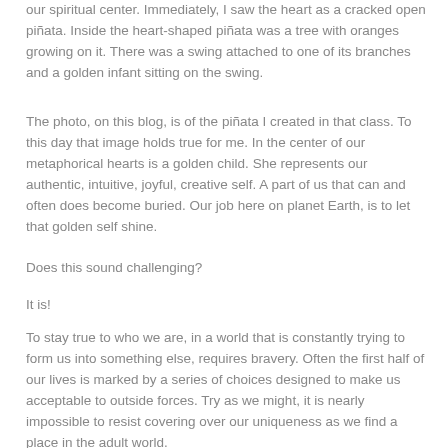our spiritual center. Immediately, I saw the heart as a cracked open piñata. Inside the heart-shaped piñata was a tree with oranges growing on it. There was a swing attached to one of its branches and a golden infant sitting on the swing.
The photo, on this blog, is of the piñata I created in that class. To this day that image holds true for me. In the center of our metaphorical hearts is a golden child. She represents our authentic, intuitive, joyful, creative self. A part of us that can and often does become buried. Our job here on planet Earth, is to let that golden self shine.
Does this sound challenging?
It is!
To stay true to who we are, in a world that is constantly trying to form us into something else, requires bravery. Often the first half of our lives is marked by a series of choices designed to make us acceptable to outside forces. Try as we might, it is nearly impossible to resist covering over our uniqueness as we find a place in the adult world.